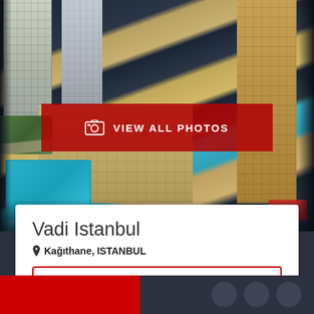[Figure (photo): Aerial view of Vadi Istanbul residential complex showing tall modern buildings, swimming pool, green areas, and orange/beige residential blocks]
VIEW ALL PHOTOS
Vadi Istanbul
Kağıthane, ISTANBUL
SalesOffice Selling